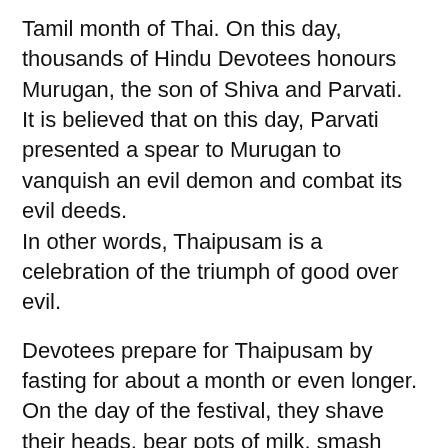Tamil month of Thai. On this day, thousands of Hindu Devotees honours Murugan, the son of Shiva and Parvati. It is believed that on this day, Parvati presented a spear to Murugan to vanquish an evil demon and combat its evil deeds. In other words, Thaipusam is a celebration of the triumph of good over evil.
Devotees prepare for Thaipusam by fasting for about a month or even longer. On the day of the festival, they shave their heads, bear pots of milk, smash coconuts, pierce their bodies with sharp objects, carry Kevadis and undertake a pilgrimage from the Sri Srinivasa Perumal Temple at 397 Serangoon Road in the Little India district and concluding at Sri Thandayuthapani Temple